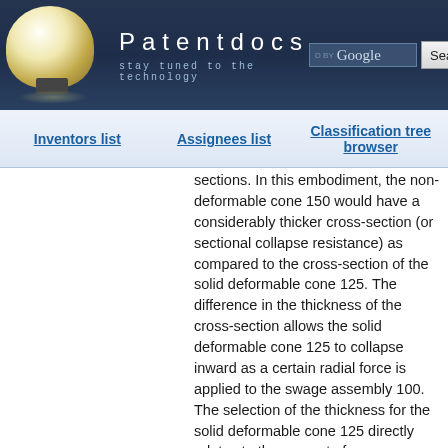Patentdocs — stay tuned to the technology
Inventors list | Assignees list | Classification tree browser
sections. In this embodiment, the non-deformable cone 150 would have a considerably thicker cross-section (or sectional collapse resistance) as compared to the cross-section of the solid deformable cone 125. The difference in the thickness of the cross-section allows the solid deformable cone 125 to collapse inward as a certain radial force is applied to the swage assembly 100. The selection of the thickness for the solid deformable cone 125 directly relates to the amount of